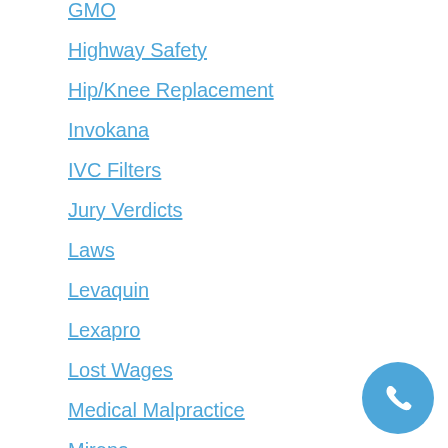GMO
Highway Safety
Hip/Knee Replacement
Invokana
IVC Filters
Jury Verdicts
Laws
Levaquin
Lexapro
Lost Wages
Medical Malpractice
Mirena
Missouri Legal Decisions